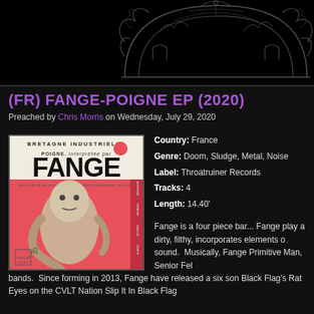[Figure (illustration): Decorative ornamental header graphic on dark background, right-aligned]
(FR) FANGE-POIGNE EP (2020)
Preached by Chris Morris on Wednesday, July 29, 2020
[Figure (photo): Album cover for Fange - Poigne EP. Shows stylized graphic with text BRETAGNE INDUSTRIELLE, POIGNE, FANGE in bold letters on white background with pink/red lower section featuring an illustrated creature/figure dripping liquid.]
Country: France
Genre: Doom, Sludge, Metal, Noise
Label: Throatruiner Records
Tracks: 4
Length: 14.40'
Fange is a four piece bar... Fange play a dirty, filthy, incorporates elements o sound. Musically, Fange Primitive Man, Senior Fel bands. Since forming in 2013, Fange have released a six son Black Flag's Rat Eyes on the CVLT Nation Slip It In Black Flag